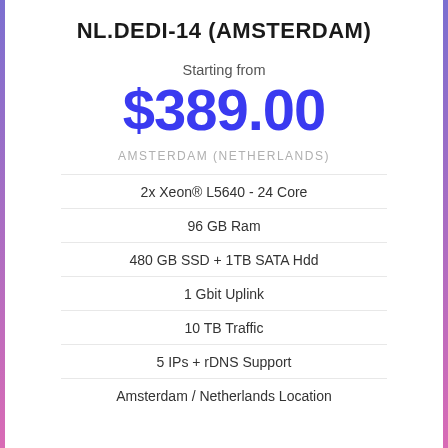NL.DEDI-14 (AMSTERDAM)
Starting from
$389.00
AMSTERDAM (NETHERLANDS)
2x Xeon® L5640 - 24 Core
96 GB Ram
480 GB SSD + 1TB SATA Hdd
1 Gbit Uplink
10 TB Traffic
5 IPs + rDNS Support
Amsterdam / Netherlands Location